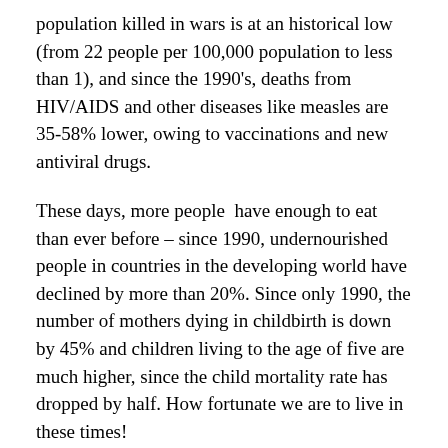population killed in wars is at an historical low (from 22 people per 100,000 population to less than 1), and since the 1990's, deaths from HIV/AIDS and other diseases like measles are 35-58% lower, owing to vaccinations and new antiviral drugs.
These days, more people have enough to eat than ever before – since 1990, undernourished people in countries in the developing world have declined by more than 20%. Since only 1990, the number of mothers dying in childbirth is down by 45% and children living to the age of five are much higher, since the child mortality rate has dropped by half. How fortunate we are to live in these times!
And I can see how progress is impacting my own life. I am looking forward to the birth of my second son in the weeks ahead. This will be a birth that in